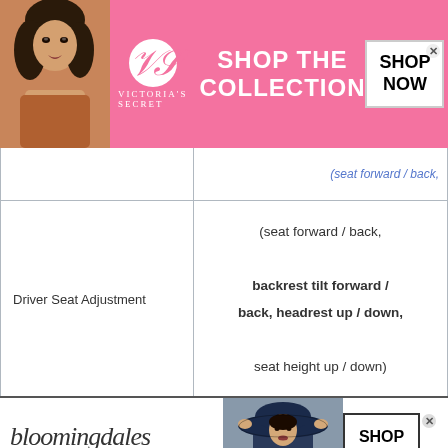[Figure (photo): Victoria's Secret advertisement banner with pink background, model photo, VS logo, 'SHOP THE COLLECTION' text, and 'SHOP NOW' button]
| Feature | Value |
| --- | --- |
|  | (seat forward / back, |
| Driver Seat Adjustment | (seat forward / back, backrest tilt forward / back, headrest up / down, seat height up / down) |
| Head-rests | Front & Rear |
| Front Passenger Seat | 6 way manually adjustable (seat forward / back |
[Figure (photo): Bloomingdale's advertisement banner with logo, 'View Today's Top Deals!' text, model photo with hat, and 'SHOP NOW >' button]